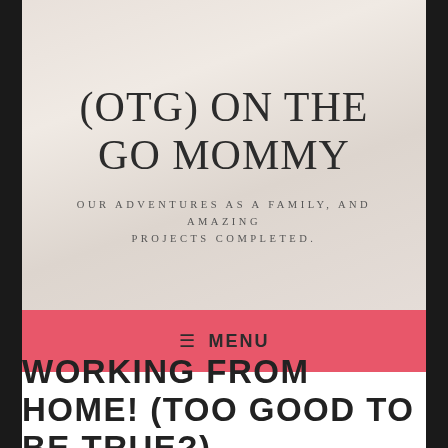(OTG) ON THE GO MOMMY
OUR ADVENTURES AS A FAMILY, AND AMAZING PROJECTS COMPLETED.
≡ MENU
WORKING FROM HOME! (TOO GOOD TO BE TRUE?)